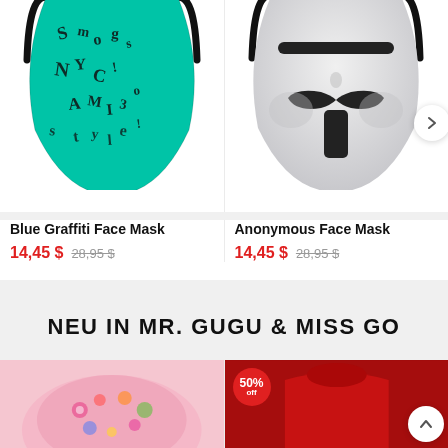[Figure (photo): Blue Graffiti Face Mask product photo - teal/cyan colored mask with black graffiti lettering pattern and black ear loops]
[Figure (photo): Anonymous Face Mask product photo - white/grey mask with black Guy Fawkes style mustache and goatee markings and black ear loops]
Blue Graffiti Face Mask
14,45 $ 28,95 $
Anonymous Face Mask
14,45 $ 28,95 $
NEU IN MR. GUGU & MISS GO
[Figure (photo): Pink colorful clothing/accessory item with floral pattern]
[Figure (photo): Red clothing item with 50% off badge]